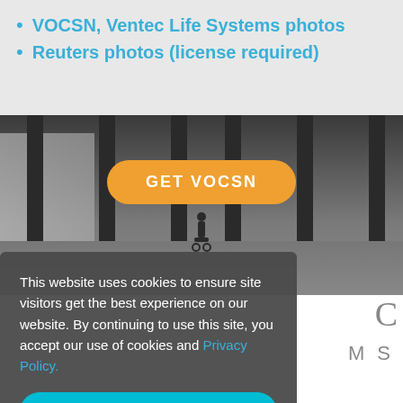VOCSN, Ventec Life Systems photos
Reuters photos (license required)
[Figure (photo): Indoor corridor or train platform with pillars, a person in a wheelchair visible in the middle distance, and a GET VOCSN button overlaid in orange]
This website uses cookies to ensure site visitors get the best experience on our website. By continuing to use this site, you accept our use of cookies and Privacy Policy.
I agree